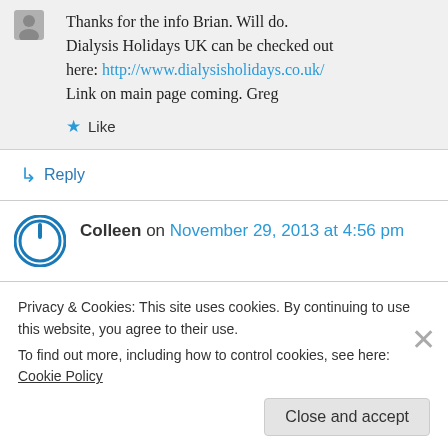Thanks for the info Brian. Will do. Dialysis Holidays UK can be checked out here: http://www.dialysisholidays.co.uk/ Link on main page coming. Greg
Like
Reply
Colleen on November 29, 2013 at 4:56 pm
Privacy & Cookies: This site uses cookies. By continuing to use this website, you agree to their use.
To find out more, including how to control cookies, see here: Cookie Policy
Close and accept